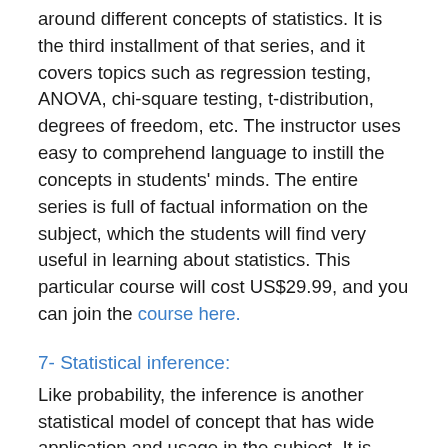around different concepts of statistics. It is the third installment of that series, and it covers topics such as regression testing, ANOVA, chi-square testing, t-distribution, degrees of freedom, etc. The instructor uses easy to comprehend language to instill the concepts in students' minds. The entire series is full of factual information on the subject, which the students will find very useful in learning about statistics. This particular course will cost US$29.99, and you can join the course here.
7- Statistical inference:
Like probability, the inference is another statistical model of concept that has wide application and usage in the subject. It is closely related to probability; in fact, it is based on probability. This course discusses at length both the academic and practical aspects of the subject. The students can get information here that they can apply in other disciplines like machine learning, etc. The course covers different topics like the revision of probability. F...